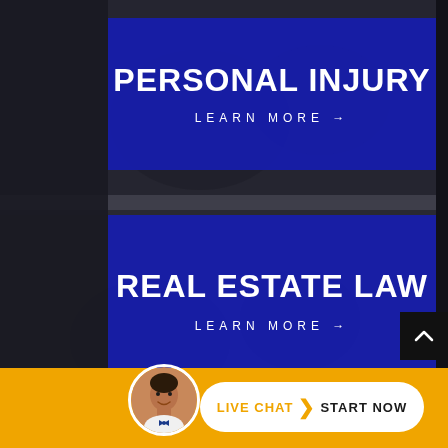PERSONAL INJURY
LEARN MORE →
REAL ESTATE LAW
LEARN MORE →
LIVE CHAT  START NOW